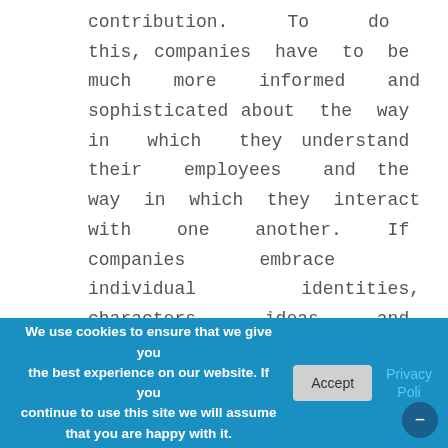contribution. To do this, companies have to be much more informed and sophisticated about the way in which they understand their employees and the way in which they interact with one another. If companies embrace individual identities, characters, ideas and mindsets, it will break down a myriad of barriers to enable a much more diverse and powerful workforce.

On a more transactional level, I
We use cookies to ensure that we give you the best experience on our website. If you continue to use this site we will assume that you are happy with it.